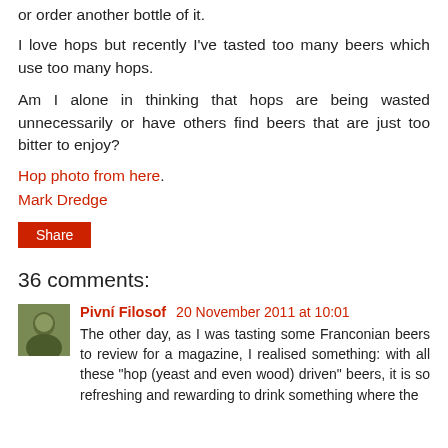or order another bottle of it.
I love hops but recently I've tasted too many beers which use too many hops.
Am I alone in thinking that hops are being wasted unnecessarily or have others find beers that are just too bitter to enjoy?
Hop photo from here.
Mark Dredge
Share
36 comments:
Pivní Filosof  20 November 2011 at 10:01
The other day, as I was tasting some Franconian beers to review for a magazine, I realised something: with all these "hop (yeast and even wood) driven" beers, it is so refreshing and rewarding to drink something where the